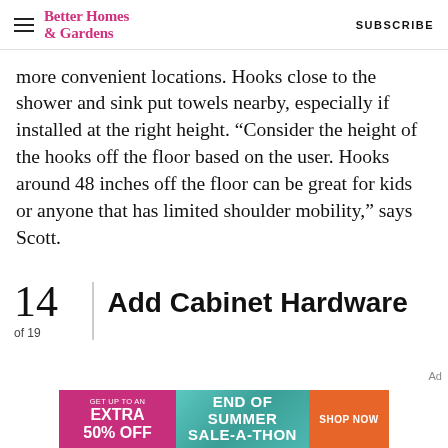Better Homes & Gardens | SUBSCRIBE
more convenient locations. Hooks close to the shower and sink put towels nearby, especially if installed at the right height. “Consider the height of the hooks off the floor based on the user. Hooks around 48 inches off the floor can be great for kids or anyone that has limited shoulder mobility,” says Scott.
14 of 19 | Add Cabinet Hardware
[Figure (other): Advertisement banner: 'GET UP TO AN EXTRA 50% OFF | END OF SUMMER SALE-A-THON | SHOP NOW']